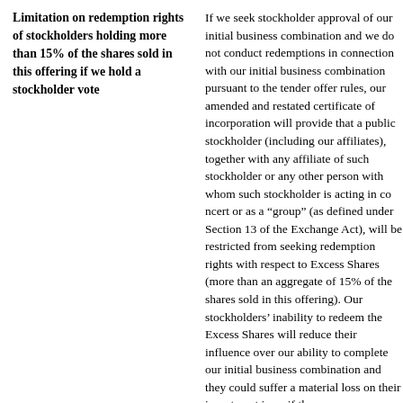Limitation on redemption rights of stockholders holding more than 15% of the shares sold in this offering if we hold a stockholder vote
If we seek stockholder approval of our initial business combination and we do not conduct redemptions in connection with our initial business combination pursuant to the tender offer rules, our amended and restated certificate of incorporation will provide that a public stockholder (including our affiliates), together with any affiliate of such stockholder or any other person with whom such stockholder is acting in concert or as a “group” (as defined under Section 13 of the Exchange Act), will be restricted from seeking redemption rights with respect to Excess Shares (more than an aggregate of 15% of the shares sold in this offering). Our stockholders’ inability to redeem the Excess Shares will reduce their influence over our ability to complete our initial business combination and they could suffer a material loss on their investment in us if they se